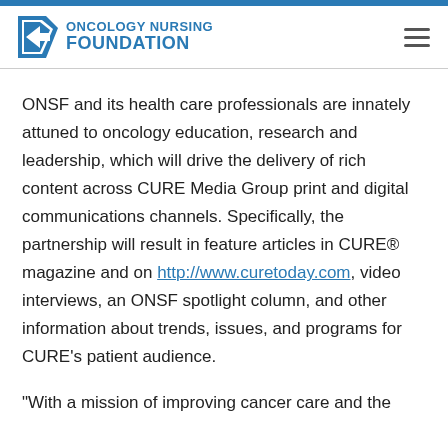ONCOLOGY NURSING FOUNDATION
ONSF and its health care professionals are innately attuned to oncology education, research and leadership, which will drive the delivery of rich content across CURE Media Group print and digital communications channels. Specifically, the partnership will result in feature articles in CURE® magazine and on http://www.curetoday.com, video interviews, an ONSF spotlight column, and other information about trends, issues, and programs for CURE's patient audience.
“With a mission of improving cancer care and the